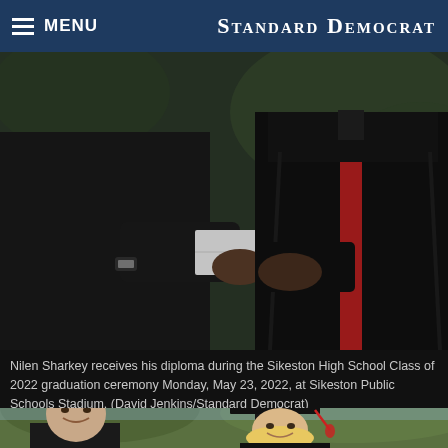MENU | STANDARD DEMOCRAT
[Figure (photo): Close-up photo of a person in a black graduation gown with red stole receiving a diploma with a handshake at the Sikeston High School Class of 2022 graduation ceremony]
Nilen Sharkey receives his diploma during the Sikeston High School Class of 2022 graduation ceremony Monday, May 23, 2022, at Sikeston Public Schools Stadium. (David Jenkins/Standard Democrat)
[Figure (photo): Photo of a man and a woman in a black graduation cap at the Sikeston High School graduation ceremony]